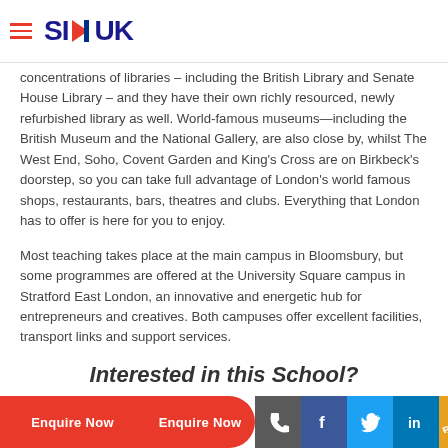SI-UK
concentrations of libraries – including the British Library and Senate House Library – and they have their own richly resourced, newly refurbished library as well. World-famous museums—including the British Museum and the National Gallery, are also close by, whilst The West End, Soho, Covent Garden and King's Cross are on Birkbeck's doorstep, so you can take full advantage of London's world famous shops, restaurants, bars, theatres and clubs. Everything that London has to offer is here for you to enjoy.
Most teaching takes place at the main campus in Bloomsbury, but some programmes are offered at the University Square campus in Stratford East London, an innovative and energetic hub for entrepreneurs and creatives. Both campuses offer excellent facilities, transport links and support services.
Interested in this School?
Enquire Now | Enquire Now | Social icons: phone, facebook, twitter, linkedin, blog, instagram